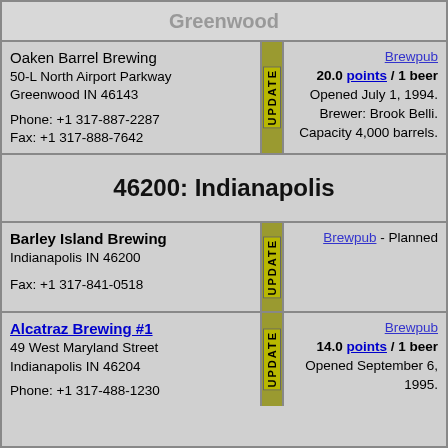Greenwood
Oaken Barrel Brewing
50-L North Airport Parkway
Greenwood IN 46143

Phone: +1 317-887-2287
Fax: +1 317-888-7642
Brewpub
20.0 points / 1 beer
Opened July 1, 1994.
Brewer: Brook Belli.
Capacity 4,000 barrels.
46200: Indianapolis
Barley Island Brewing
Indianapolis IN 46200

Fax: +1 317-841-0518
Brewpub - Planned
Alcatraz Brewing #1
49 West Maryland Street
Indianapolis IN 46204

Phone: +1 317-488-1230
Brewpub
14.0 points / 1 beer
Opened September 6, 1995.